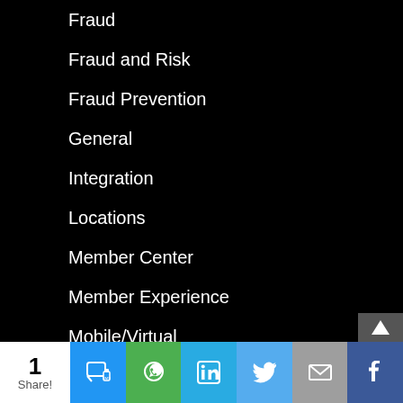Fraud
Fraud and Risk
Fraud Prevention
General
Integration
Locations
Member Center
Member Experience
Mobile/Virtual
P2P
Payment Trends
Payments